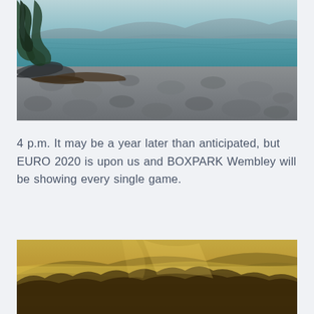[Figure (photo): Rocky beach shoreline with blue-grey water, driftwood and trees on the left, mountains in the background under a hazy sky.]
4 p.m. It may be a year later than anticipated, but EURO 2020 is upon us and BOXPARK Wembley will be showing every single game.
[Figure (photo): Misty mountain landscape with golden-toned hazy light over forested hills.]